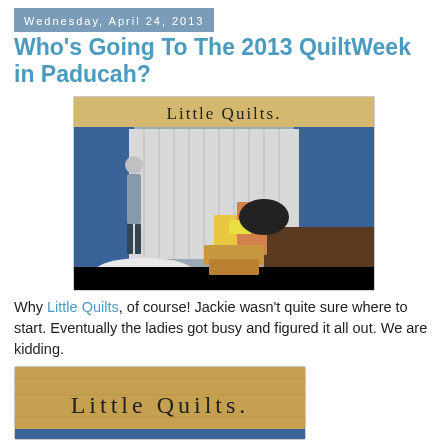Wednesday, April 24, 2013
Who's Going To The 2013 QuiltWeek in Paducah?
[Figure (photo): Exhibition booth being set up for Little Quilts at QuiltWeek 2013 in Paducah. A person stands near white fabric draped on the floor, with blue curtain backdrop and boxes/items on tables.]
Why Little Quilts, of course! Jackie wasn't quite sure where to start. Eventually the ladies got busy and figured it all out. We are kidding.
[Figure (photo): Close-up photo of the Little Quilts sign on a wooden-colored banner at the booth.]